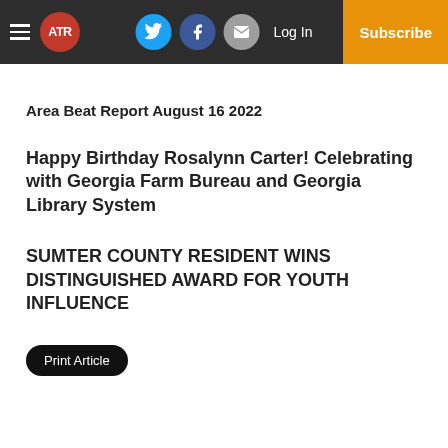ATR | Log In | Subscribe
Area Beat Report August 16 2022
Happy Birthday Rosalynn Carter! Celebrating with Georgia Farm Bureau and Georgia Library System
SUMTER COUNTY RESIDENT WINS DISTINGUISHED AWARD FOR YOUTH INFLUENCE
Print Article